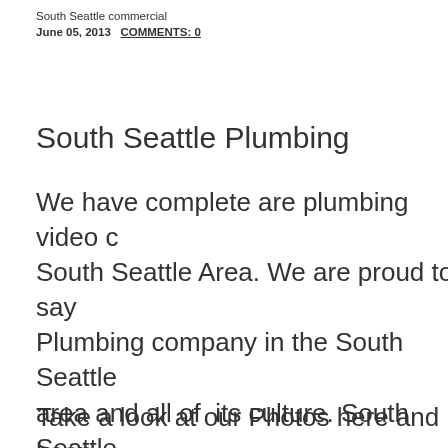South Seattle commercial
June 05, 2013   COMMENTS: 0
South Seattle Plumbing
We have complete are plumbing video c... South Seattle Area. We are proud to say... Plumbing company in the South Seattle area and all of  its culture. South Seattle filled with all kinds of culture coming out... is Acqua Plumbing's backyard, where w... Plumbing Excellence at Affordable Price...
Take a look at our Photos here and keep...